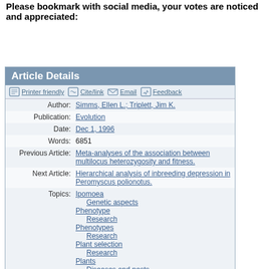Please bookmark with social media, your votes are noticed and appreciated:
Article Details
| Field | Value |
| --- | --- |
| Author: | Simms, Ellen L.; Triplett, Jim K. |
| Publication: | Evolution |
| Date: | Dec 1, 1996 |
| Words: | 6851 |
| Previous Article: | Meta-analyses of the association between multilocus heterozygosity and fitness. |
| Next Article: | Hierarchical analysis of inbreeding depression in Peromyscus polionotus. |
| Topics: | Ipomoea
    Genetic aspects
Phenotype
    Research
Phenotypes
    Research
Plant selection
    Research
Plants
    Diseases and pests
Plants (Organisms)
    Diseases and pests
Quantitative genetics
    Research |